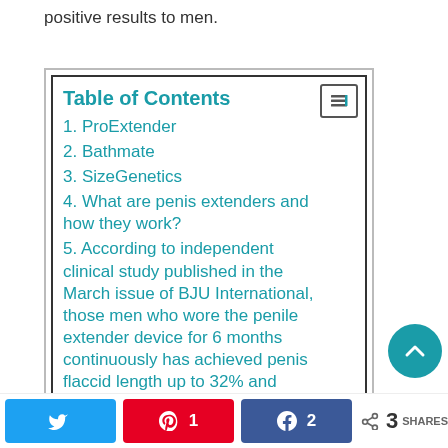positive results to men.
Table of Contents
1. ProExtender
2. Bathmate
3. SizeGenetics
4. What are penis extenders and how they work?
5. According to independent clinical study published in the March issue of BJU International, those men who wore the penile extender device for 6 months continuously has achieved penis flaccid length up to 32% and